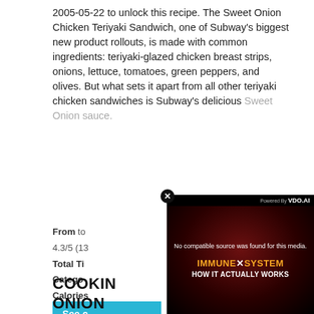2005-05-22 to unlock this recipe. The Sweet Onion Chicken Teriyaki Sandwich, one of Subway's biggest new product rollouts, is made with common ingredients: teriyaki-glazed chicken breast strips, onions, lettuce, tomatoes, green peppers, and olives. But what sets it apart from all other teriyaki chicken sandwiches is Subway's delicious Sweet Onion sauce.
From to
4.3/5 (13
Total Ti
Catego
Calories
See c
[Figure (screenshot): Video player overlay showing 'No compatible source was found for this media.' with IMMUNE SYSTEM HOW IT ACTUALLY WORKS graphic, powered by VDO.AI]
COOKIN
ONION